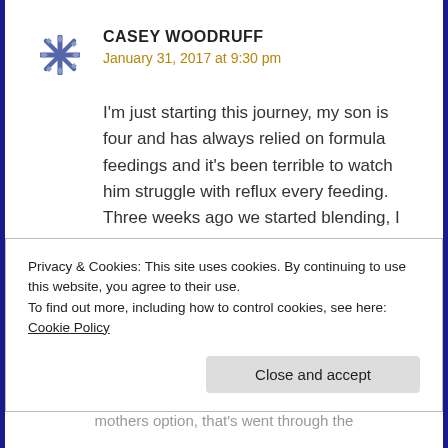CASEY WOODRUFF
January 31, 2017 at 9:30 pm
I'm just starting this journey, my son is four and has always relied on formula feedings and it's been terrible to watch him struggle with reflux every feeding. Three weeks ago we started blending, I feel like I'm walking through the dark getting whatever information I can online I'm getting little
Privacy & Cookies: This site uses cookies. By continuing to use this website, you agree to their use.
To find out more, including how to control cookies, see here: Cookie Policy
Close and accept
mothers option, that's went through the